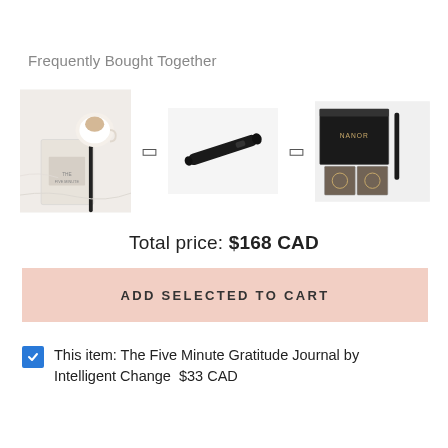Frequently Bought Together
[Figure (photo): Three product images shown side by side with plus signs between them: (1) a journal with a coffee cup on white bedding, (2) a black stylus/pen, (3) a NANOR branded box set with small black boxes]
Total price: $168 CAD
ADD SELECTED TO CART
This item: The Five Minute Gratitude Journal by Intelligent Change  $33 CAD